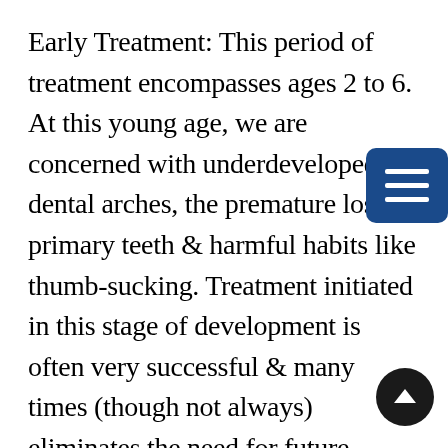Early Treatment: This period of treatment encompasses ages 2 to 6. At this young age, we are concerned with underdeveloped dental arches, the premature loss of primary teeth & harmful habits like thumb-sucking. Treatment initiated in this stage of development is often very successful & many times (though not always) eliminates the need for future orthodontic or orthopedic treatment.